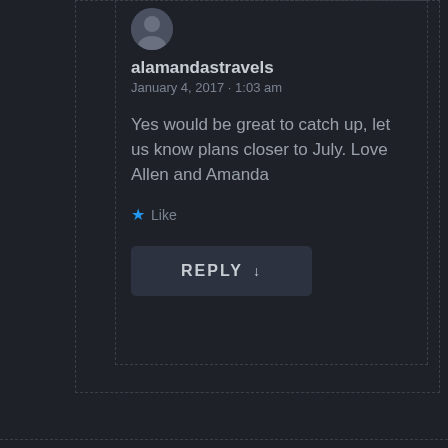[Figure (photo): Small circular avatar photo of a person]
alamandastravels
January 4, 2017 · 1:03 am
Yes would be great to catch up, let us know plans closer to July. Love Allen and Amanda
★ Like
REPLY ↓